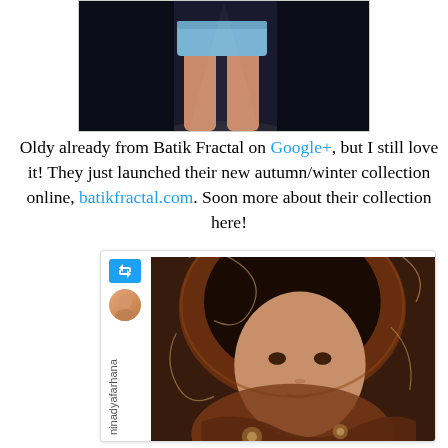[Figure (photo): Photo showing lower body/legs of a person wearing denim shorts against a dark background]
Oldy already from Batik Fractal on Google+, but I still love it! They just launched their new autumn/winter collection online, batikfractal.com. Soon more about their collection here!
[Figure (screenshot): Instagram/Twitter card embed showing a young woman wearing a batik hijab/headscarf with intricate brown floral patterns. Username shown vertically reads: ninadyafarhana. Has a retweet icon in blue at top left.]